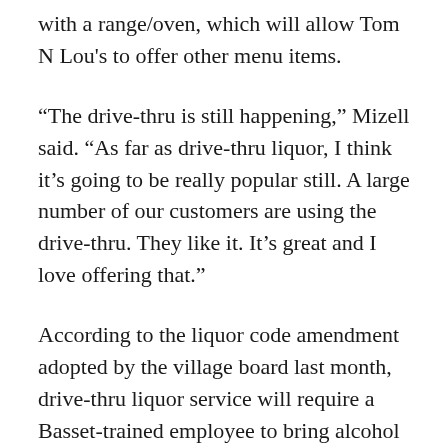with a range/oven, which will allow Tom N Lou's to offer other menu items.
“The drive-thru is still happening,” Mizell said. “As far as drive-thru liquor, I think it’s going to be really popular still. A large number of our customers are using the drive-thru. They like it. It’s great and I love offering that.”
According to the liquor code amendment adopted by the village board last month, drive-thru liquor service will require a Basset-trained employee to bring alcohol out to the vehicle and must place it into the trunk or a non-accessible rear compartment. No beer or wine will be delivered directly through the drive-thru window.